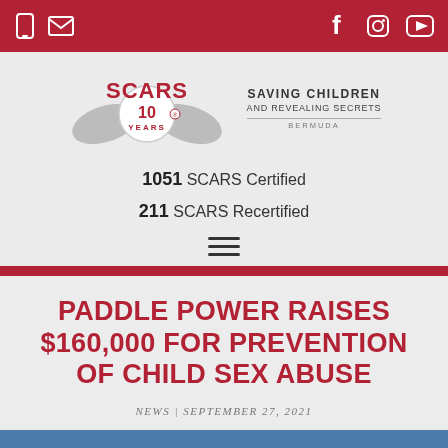SCARS website navigation bar with phone, mail icons on left; Facebook, Instagram, YouTube icons on right
[Figure (logo): SCARS logo with two grey hands cradling a circular badge reading '10 YEARS' in red, alongside text 'SAVING CHILDREN AND REVEALING SECRETS BERMUDA']
1051 SCARS Certified
211 SCARS Recertified
PADDLE POWER RAISES $160,000 FOR PREVENTION OF CHILD SEX ABUSE
NEWS | SEPTEMBER 27, 2021